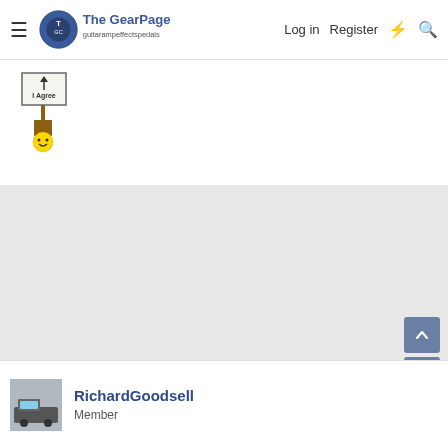The Gear Page — Log in  Register
[Figure (illustration): Pixel art emoji character holding a sign that reads 'I Agree' with an upward arrow]
[Figure (other): Grey advertisement or empty content area]
RichardGoodsell
Member